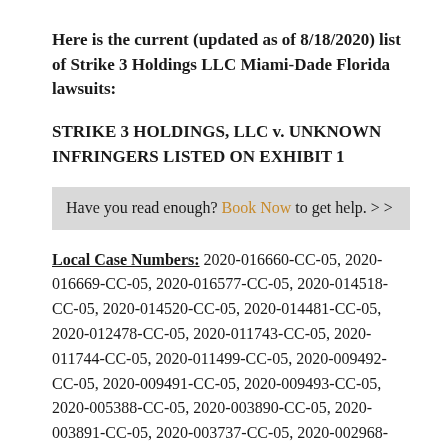Here is the current (updated as of 8/18/2020) list of Strike 3 Holdings LLC Miami-Dade Florida lawsuits:
STRIKE 3 HOLDINGS, LLC v. UNKNOWN INFRINGERS LISTED ON EXHIBIT 1
Have you read enough? Book Now to get help. > >
Local Case Numbers: 2020-016660-CC-05, 2020-016669-CC-05, 2020-016577-CC-05, 2020-014518-CC-05, 2020-014520-CC-05, 2020-014481-CC-05, 2020-012478-CC-05, 2020-011743-CC-05, 2020-011744-CC-05, 2020-011499-CC-05, 2020-009492-CC-05, 2020-009491-CC-05, 2020-009493-CC-05, 2020-005388-CC-05, 2020-003890-CC-05, 2020-003891-CC-05, 2020-003737-CC-05, 2020-002968-CC-05, 2020-002019-CC-